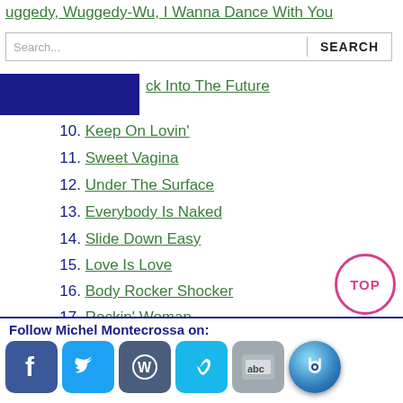uggedy, Wuggedy-Wu, I Wanna Dance With You
Search... SEARCH
ck Into The Future
10. Keep On Lovin'
11. Sweet Vagina
12. Under The Surface
13. Everybody Is Naked
14. Slide Down Easy
15. Love Is Love
16. Body Rocker Shocker
17. Rockin' Woman
18. Creative Passion
19. Ball With Me
20. Wanted Girl
21. Remember Your Heart
Follow Michel Montecrossa on: